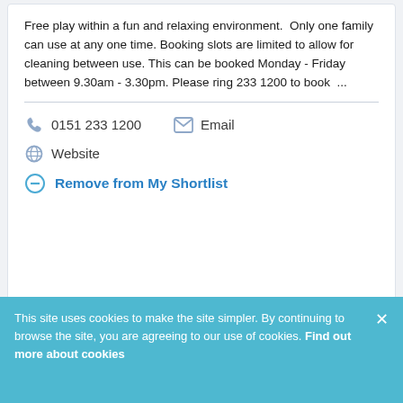Free play within a fun and relaxing environment.  Only one family can use at any one time. Booking slots are limited to allow for cleaning between use. This can be booked Monday - Friday between 9.30am - 3.30pm. Please ring 233 1200 to book  ...
0151 233 1200   Email   Website
Remove from My Shortlist
This site uses cookies to make the site simpler. By continuing to browse the site, you are agreeing to our use of cookies. Find out more about cookies